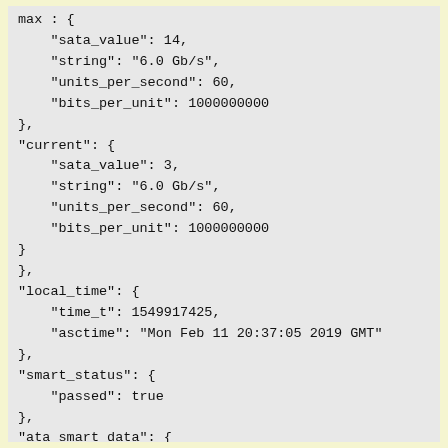max : {
    "sata_value": 14,
    "string": "6.0 Gb/s",
    "units_per_second": 60,
    "bits_per_unit": 1000000000
},
"current": {
    "sata_value": 3,
    "string": "6.0 Gb/s",
    "units_per_second": 60,
    "bits_per_unit": 1000000000
}
},
"local_time": {
    "time_t": 1549917425,
    "asctime": "Mon Feb 11 20:37:05 2019 GMT"
},
"smart_status": {
    "passed": true
},
"ata_smart_data": {
    "offline_data_collection": {
        "status": {
            "value": 130,
            "string": "was completed without erro
            "passed": true
        },
        "completion_seconds": 584
    },
    "self_test": {
        "status": {